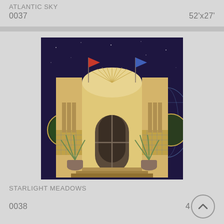ATLANTIC SKY
0037
52'x27'
[Figure (photo): Art deco theater facade with arched entrance, flanking columns, round porthole windows, decorative lattice, and plants. Two flags visible against deep purple/blue night sky background.]
STARLIGHT MEADOWS
0038
4
[Figure (photo): Partial view of a landscape with blue sky, bottom portion of image visible.]